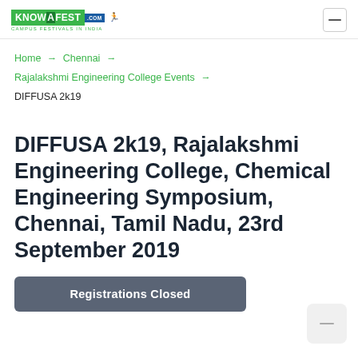KNOWAFEST.COM - Campus Festivals in India
Home → Chennai → Rajalakshmi Engineering College Events → DIFFUSA 2k19
DIFFUSA 2k19, Rajalakshmi Engineering College, Chemical Engineering Symposium, Chennai, Tamil Nadu, 23rd September 2019
Registrations Closed